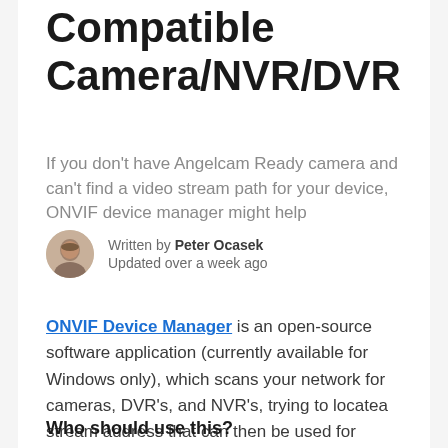Compatible Camera/NVR/DVR
If you don't have Angelcam Ready camera and can't find a video stream path for your device, ONVIF device manager might help
Written by Peter Ocasek
Updated over a week ago
ONVIF Device Manager is an open-source software application (currently available for Windows only), which scans your network for cameras, DVR's, and NVR's, trying to locatea stream address that can then be used for connecting your device to Angelcam.
Who should use this?